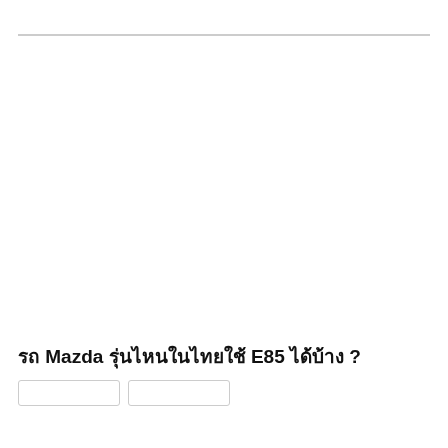รถ Mazda รุ่นไหนในไทยใช้ E85 ได้บ้าง ?